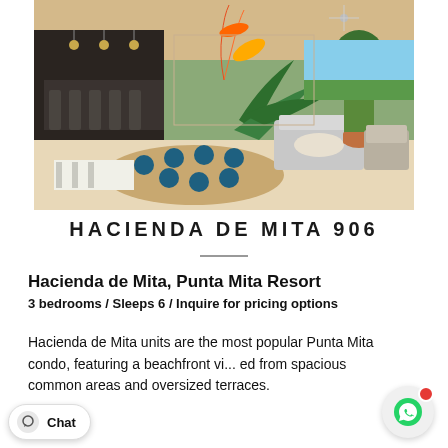[Figure (photo): Interior photo of Hacienda de Mita 906 condo showing open-plan dining area with teal plates, tropical flowers, living area with rattan furniture, and outdoor terrace with lush green views and ocean in background.]
HACIENDA DE MITA 906
Hacienda de Mita, Punta Mita Resort
3 bedrooms / Sleeps 6 / Inquire for pricing options
Hacienda de Mita units are the most popular Punta Mita condo, featuring a beachfront vi... ed from spacious common areas and oversized terraces.